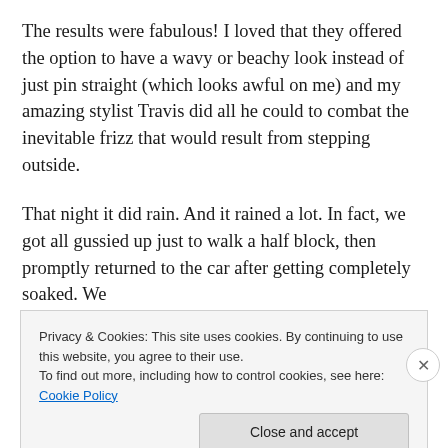The results were fabulous! I loved that they offered the option to have a wavy or beachy look instead of just pin straight (which looks awful on me) and my amazing stylist Travis did all he could to combat the inevitable frizz that would result from stepping outside.
That night it did rain. And it rained a lot. In fact, we got all gussied up just to walk a half block, then promptly returned to the car after getting completely soaked. We
Privacy & Cookies: This site uses cookies. By continuing to use this website, you agree to their use.
To find out more, including how to control cookies, see here: Cookie Policy
Close and accept